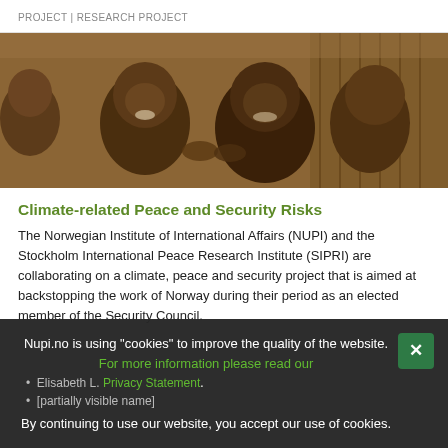PROJECT | RESEARCH PROJECT
[Figure (photo): Photo of smiling African children, appearing joyful, with wooden structures visible in the background.]
Climate-related Peace and Security Risks
The Norwegian Institute of International Affairs (NUPI) and the Stockholm International Peace Research Institute (SIPRI) are collaborating on a climate, peace and security project that is aimed at backstopping the work of Norway during their period as an elected member of the Security Council.
Nupi.no is using "cookies" to improve the quality of the website. For more information please read our Privacy Statement. By continuing to use our website, you accept our use of cookies.
Elisabeth L. [partially visible]
[partially visible name]